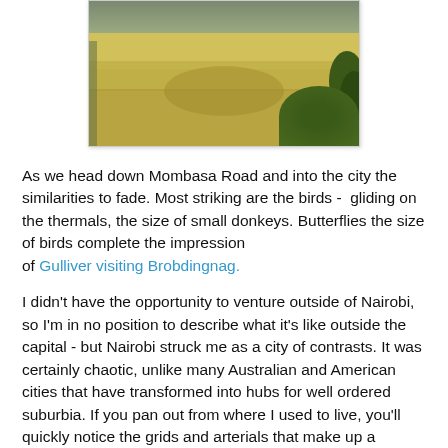[Figure (photo): Photograph of an open grassy field with trees visible along the edges and background, taken from a road or path. Landscape appears dry with yellow-green grass.]
As we head down Mombasa Road and into the city the similarities to fade. Most striking are the birds -  gliding on the thermals, the size of small donkeys. Butterflies the size of birds complete the impression of Gulliver visiting Brobdingnag.
I didn't have the opportunity to venture outside of Nairobi, so I'm in no position to describe what it's like outside the capital - but Nairobi struck me as a city of contrasts. It was certainly chaotic, unlike many Australian and American cities that have transformed into hubs for well ordered suburbia. If you pan out from where I used to live, you'll quickly notice the grids and arterials that make up a planned, ordered city.
Nairobi isn't like that. In many ways it reminded me of organic cities like Rome and Paris - cities where you can get